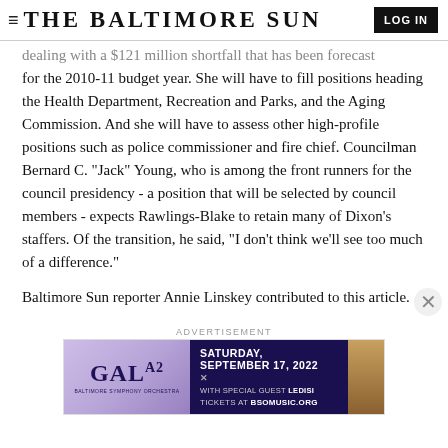THE BALTIMORE SUN
dealing with a $121 million shortfall that has been forecast for the 2010-11 budget year. She will have to fill positions heading the Health Department, Recreation and Parks, and the Aging Commission. And she will have to assess other high-profile positions such as police commissioner and fire chief. Councilman Bernard C. "Jack" Young, who is among the front runners for the council presidency - a position that will be selected by council members - expects Rawlings-Blake to retain many of Dixon's staffers. Of the transition, he said, "I don't think we'll see too much of a difference."
Baltimore Sun reporter Annie Linskey contributed to this article.
[Figure (infographic): Advertisement banner for Baltimore Symphony Orchestra Gala, Saturday September 17 2022, with special guest Ledisi, tickets at bsomusic.org]